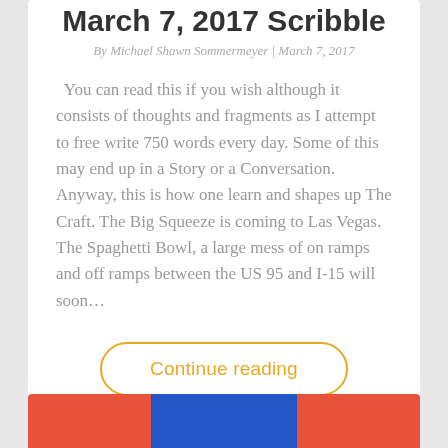March 7, 2017 Scribble
By Michael Shawn Sommermeyer | March 7, 2017
You can read this if you wish although it consists of thoughts and fragments as I attempt to free write 750 words every day. Some of this may end up in a Story or a Conversation. Anyway, this is how one learn and shapes up The Craft. The Big Squeeze is coming to Las Vegas. The Spaghetti Bowl, a large mess of on ramps and off ramps between the US 95 and I-15 will soon…
Continue reading
[Figure (other): Partial view of a colored image with red, blue, and red horizontal sections at the bottom of the page]